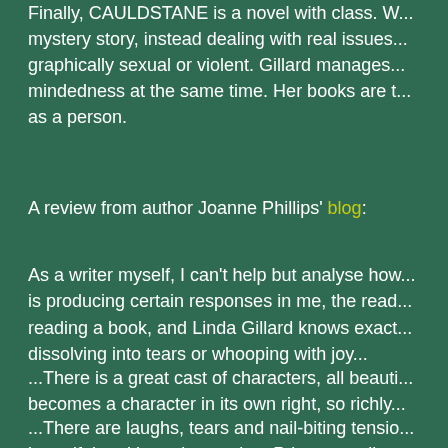Finally, CAULDSTANE is a novel with class. W... mystery story, instead dealing with real issues... graphically sexual or violent. Gillard manages... mindedness at the same time. Her books are t... as a person.
A review from author Joanne Phillips' blog:
As a writer myself, I can't help but analyse how... is producing certain responses in me, the read... reading a book, and Linda Gillard knows exact... dissolving into tears or whooping with joy...
...There is a great cast of characters, all beauti... becomes a character in its own right, so richly...
...There are laughs, tears and nail-biting tensio... beautiful and haunting setting. Prior to reading... HOUSE OF SILENCE (which I also recomme... CAULDSTANE is an instant classic, and I'm lo... out so I have a good excuse to read it again.